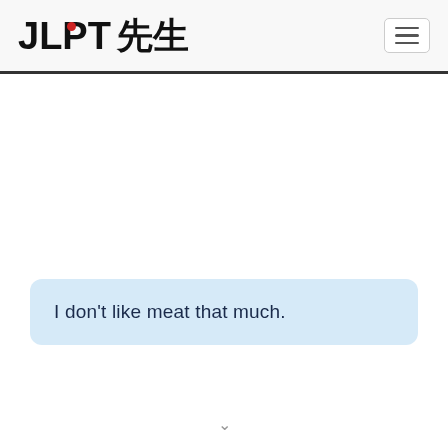JLPT 先生
I don't like meat that much.